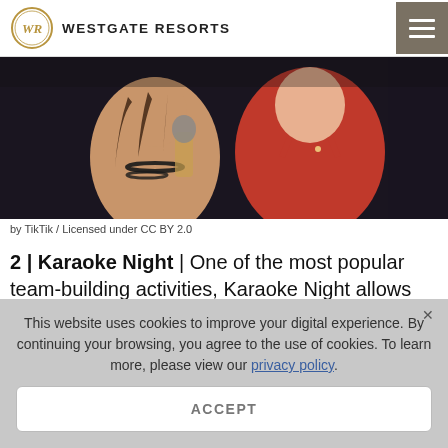WESTGATE RESORTS
[Figure (photo): Two women at a karaoke event, one wearing black beads holding a microphone, the other in a red dress]
by TikTik / Licensed under CC BY 2.0
2 | Karaoke Night | One of the most popular team-building activities, Karaoke Night allows employees to step outside their comfort zone and bond together, while sharing their singing talents (and plenty of laughs to boot!). In fact, according to a recent study published
This website uses cookies to improve your digital experience. By continuing your browsing, you agree to the use of cookies. To learn more, please view our privacy policy.